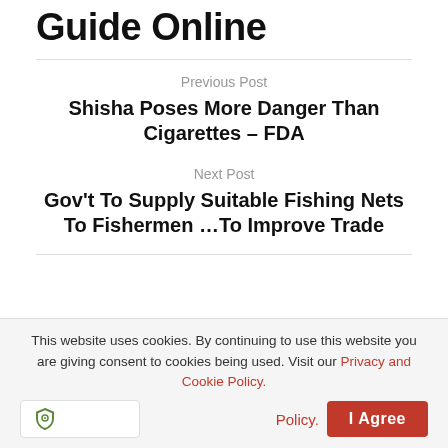Guide Online
Previous Post
Shisha Poses More Danger Than Cigarettes – FDA
Next Post
Gov't To Supply Suitable Fishing Nets To Fishermen …To Improve Trade
[Figure (illustration): Circular grey placeholder avatar/profile image]
This website uses cookies. By continuing to use this website you are giving consent to cookies being used. Visit our Privacy and Cookie Policy.
I Agree